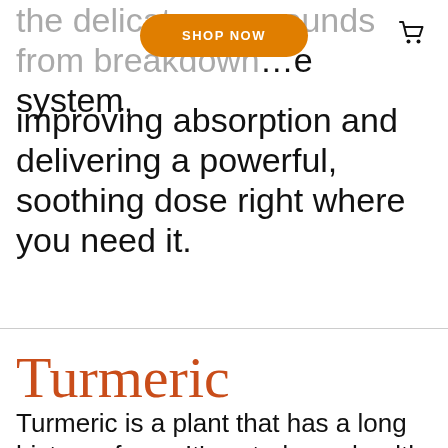SHOP NOW
the delicate compounds from breakdown … e system, improving absorption and delivering a powerful, soothing dose right where you need it.
RUSH MY ORDER
Turmeric
Turmeric is a plant that has a long history of use. It's acted as a health remedy for more than 4000 years